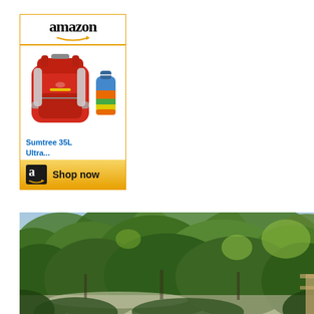[Figure (advertisement): Amazon advertisement banner featuring a red 35L backpack (Sumtree 35L Ultra...) with a smaller colorful bag beside it, Amazon logo at top, orange Shop now button at bottom.]
[Figure (photo): Outdoor landscape photo showing a lush green forest canopy with dense trees and foliage, viewed from an elevated position, possibly a deck or overlook. Bright summer daylight.]